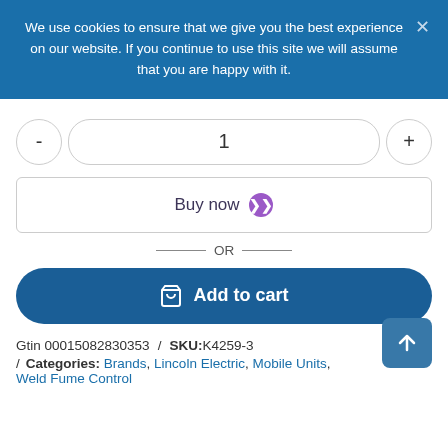We use cookies to ensure that we give you the best experience on our website. If you continue to use this site we will assume that you are happy with it.
- 1 +
Buy now
— OR —
Add to cart
Gtin 00015082830353 / SKU: K4259-3
/ Categories: Brands, Lincoln Electric, Mobile Units, Weld Fume Control